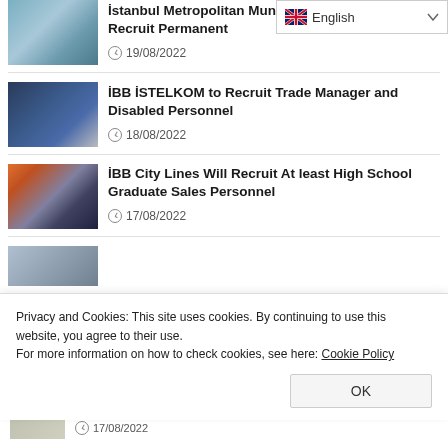[Figure (screenshot): Language selector dropdown showing English with UK flag icon]
[Figure (photo): Aerial photo of a building complex]
İstanbul Metropolitan Municipality Will Recruit Permanent Personnel
19/08/2022
[Figure (photo): Person sitting at desk writing]
İBB İSTELKOM to Recruit Trade Manager and Disabled Personnel
18/08/2022
[Figure (photo): Ferry/boat on water at sunset]
İBB City Lines Will Recruit At least High School Graduate Sales Personnel
17/08/2022
Privacy and Cookies: This site uses cookies. By continuing to use this website, you agree to their use.
For more information on how to check cookies, see here: Cookie Policy
17/08/2022